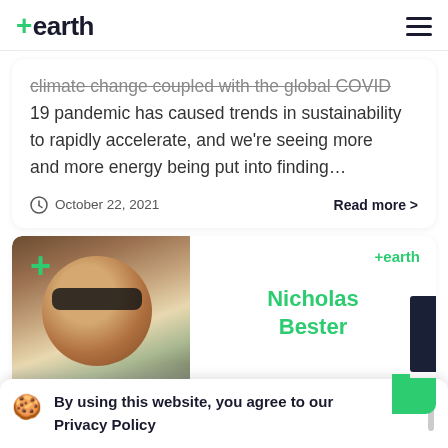+earth
climate change coupled with the global COVID 19 pandemic has caused trends in sustainability to rapidly accelerate, and we're seeing more and more energy being put into finding...
October 22, 2021  Read more >
[Figure (photo): Profile photo of Nicholas Bester with a cat, overlaid with +earth logo and green plus sign]
Nicholas Bester
By using this website, you agree to our Privacy Policy